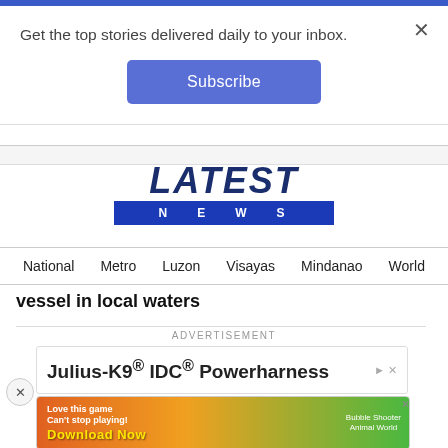Get the top stories delivered daily to your inbox.
Subscribe
[Figure (logo): LATEST NEWS logo with blue banner]
National  Metro  Luzon  Visayas  Mindanao  World
vessel in local waters
ADVERTISEMENT
Julius-K9® IDC® Powerharness
[Figure (infographic): Mobile game advertisement: Love this game Can't stop playing! Download Now - Bubble Shooter Animal World]